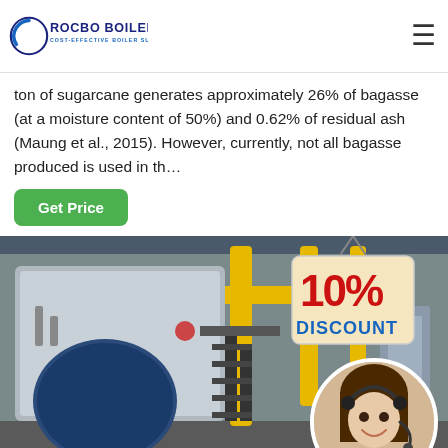ROCBO BOILER — COST-EFFECTIVE BOILER SUPPLIER
ton of sugarcane generates approximately 26% of bagasse (at a moisture content of 50%) and 0.62% of residual ash (Maung et al., 2015). However, currently, not all bagasse produced is used in th…
[Figure (illustration): Industrial boiler equipment in a factory setting with yellow pipes, blue cylindrical tank, black metal staircase, and various machinery. Overlaid with a 10% Discount badge and a customer service representative in a circular portrait.]